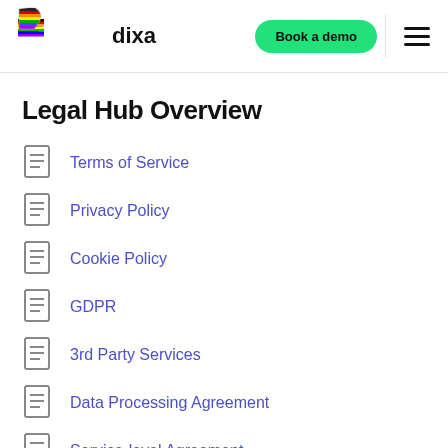dixa — Book a demo
Legal Hub Overview
Terms of Service
Privacy Policy
Cookie Policy
GDPR
3rd Party Services
Data Processing Agreement
Service-level Agreement